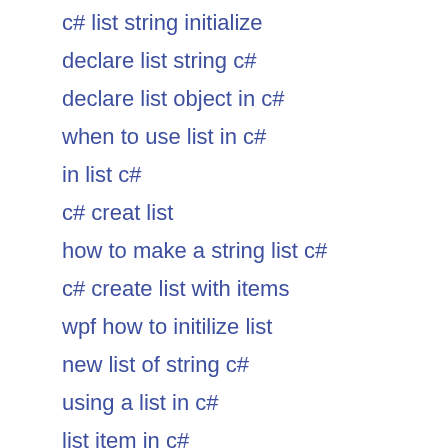c# list string initialize
declare list string c#
declare list object in c#
when to use list in c#
in list c#
c# creat list
how to make a string list c#
c# create list with items
wpf how to initilize list
new list of string c#
using a list in c#
list item in c#
list c# string
list properties in c#